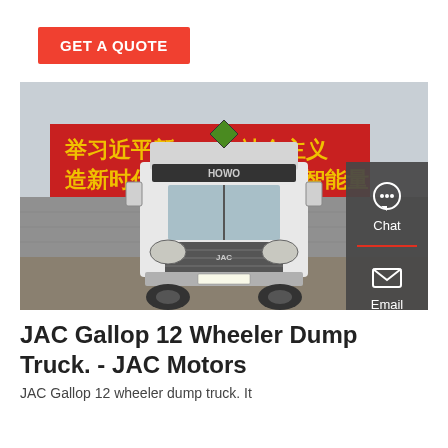GET A QUOTE
[Figure (photo): Front view of a white HOWO heavy-duty truck parked in front of a wall with Chinese text banners in red and yellow. A green diamond-shaped sign is visible on top of the cab.]
JAC Gallop 12 Wheeler Dump Truck. - JAC Motors
JAC Gallop 12 wheeler dump truck. It